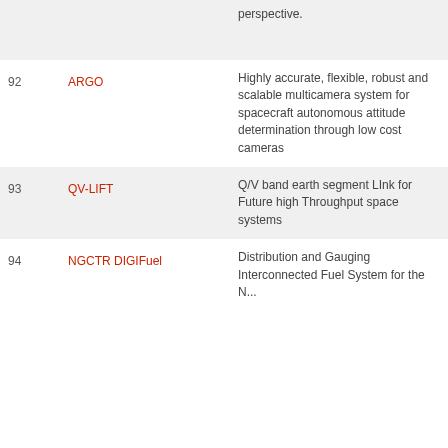| # | Name | Description |
| --- | --- | --- |
|  |  | perspective. |
| 92 | ARGO | Highly accurate, flexible, robust and scalable multicamera system for spacecraft autonomous attitude determination through low cost cameras |
| 93 | QV-LIFT | Q/V band earth segment LInk for Future high Throughput space systems |
| 94 | NGCTR DIGIFuel | Distribution and Gauging Interconnected Fuel System for the Next... |